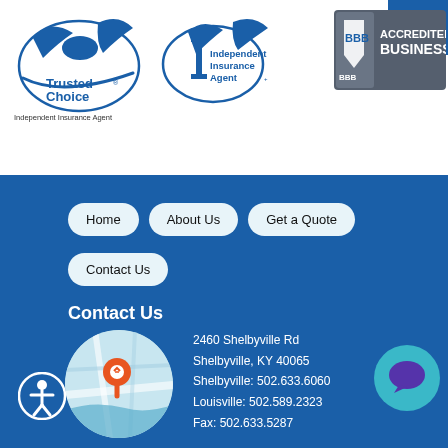[Figure (logo): Trusted Choice Independent Insurance Agent logo - bird with swoosh]
[Figure (logo): Independent Insurance Agent logo - bird with I mark]
[Figure (logo): BBB Accredited Business logo]
[Figure (illustration): Hamburger menu icon on dark blue background]
Home
About Us
Get a Quote
Contact Us
Contact Us
[Figure (map): Map with orange location pin marker]
[Figure (illustration): Accessibility icon - person in circle]
[Figure (illustration): Chat bubble icon on teal circle]
2460 Shelbyville Rd
Shelbyville, KY 40065
Shelbyville: 502.633.6060
Louisville: 502.589.2323
Fax: 502.633.5287